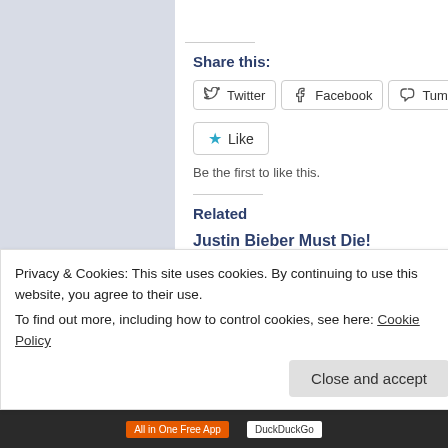[Figure (screenshot): Green bar at top right of webpage]
Share this:
[Figure (screenshot): Twitter share button]
[Figure (screenshot): Facebook share button]
[Figure (screenshot): Tumblr share button]
[Figure (screenshot): Like button with star icon]
Be the first to like this.
Related
Justin Bieber Must Die!
January 28, 2011
In "Misc. Culture"
Privacy & Cookies: This site uses cookies. By continuing to use this website, you agree to their use.
To find out more, including how to control cookies, see here: Cookie Policy
Close and accept